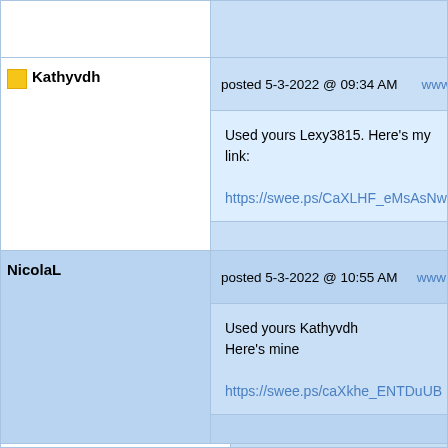Kathyvdh posted 5-3-2022 @ 09:34 AM www Used yours Lexy3815. Here's my link: https://swee.ps/CaXLHF_eMsAsNw
NicolaL posted 5-3-2022 @ 10:55 AM www Used yours Kathyvdh Here's mine https://swee.ps/caXkhe_ENTDuUB
sistemme posted 5-3-2022 @ 05:22 PM www Used yours NicolaL